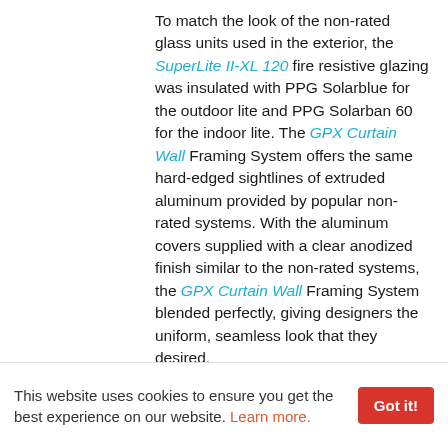To match the look of the non-rated glass units used in the exterior, the SuperLite II-XL 120 fire resistive glazing was insulated with PPG Solarblue for the outdoor lite and PPG Solarban 60 for the indoor lite. The GPX Curtain Wall Framing System offers the same hard-edged sightlines of extruded aluminum provided by popular non-rated systems. With the aluminum covers supplied with a clear anodized finish similar to the non-rated systems, the GPX Curtain Wall Framing System blended perfectly, giving designers the uniform, seamless look that they desired.
In addition to meeting ASTM E-119/NFPA 251/UL263 for two-hour, the GPX Curtain Wall Framing System was also tested for air and water infiltration and thermal
This website uses cookies to ensure you get the best experience on our website. Learn more.